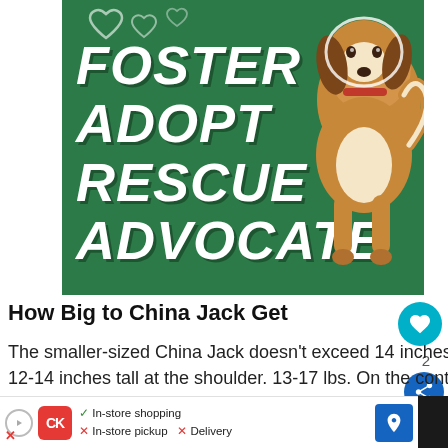[Figure (illustration): Green banner with bold italic white text reading FOSTER ADOPT RESCUE ADVOCATE with heart outlines, and a beagle dog photo cut out on the right side]
How Big to China Jack Get
The smaller-sized China Jack doesn't exceed 14 inches in height. The male canine of this breed stands 12-14 inches tall at the shoulder. 13-17 lbs. On the contrary, their female dog has 11-12 inches in height and weighs almost 13-14 lbs.
[Figure (photo): What's Next thumbnail showing a small dog, labeled Silky Jack Dog Breed...]
[Figure (infographic): Advertisement bar: play button, red CK logo, In-store shopping checked, In-store pickup X, Delivery X, blue navigation arrow button]